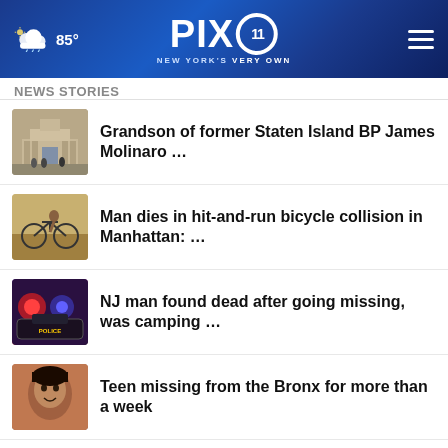PIX11 NEW YORK'S VERY OWN — 85°
NEWS STORIES
Grandson of former Staten Island BP James Molinaro …
Man dies in hit-and-run bicycle collision in Manhattan: …
NJ man found dead after going missing, was camping …
Teen missing from the Bronx for more than a week
Teens chase 13-year-old boy off Staten Island bus, …
Fiery car crash leaves one dead on Montauk Highway …